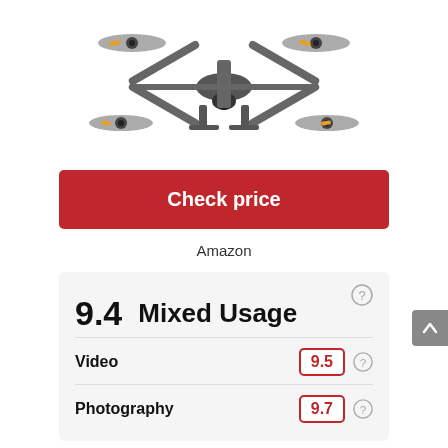[Figure (photo): DJI drone (quadcopter) viewed from the front, grey body with yellow highlighted propeller tips and camera gimbal underneath]
Check price
Amazon
9.4   Mixed Usage
Video   9.5
Photography   9.7